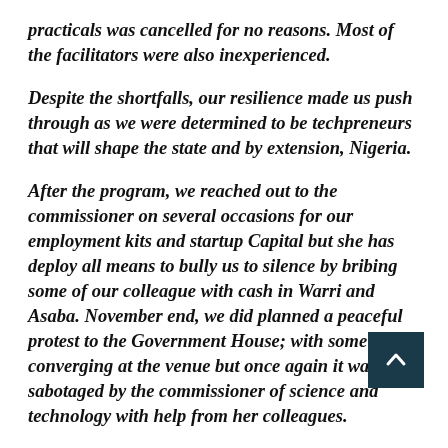practicals was cancelled for no reasons. Most of the facilitators were also inexperienced.
Despite the shortfalls, our resilience made us push through as we were determined to be techpreneurs that will shape the state and by extension, Nigeria.
After the program, we reached out to the commissioner on several occasions for our employment kits and startup Capital but she has deploy all means to bully us to silence by bribing some of our colleague with cash in Warri and Asaba. November end, we did planned a peaceful protest to the Government House; with some converging at the venue but once again it was sabotaged by the commissioner of science and technology with help from her colleagues.
Our demands are simple and plain Sir; we just need starter packs and startup Capital to be able to thrive in